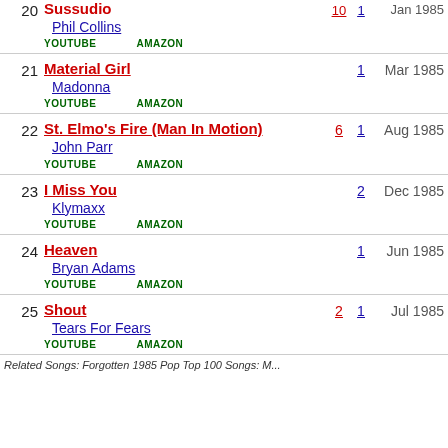| # | Song / Artist | Wks | Pk | Date |
| --- | --- | --- | --- | --- |
| 20 | Sussudio / Phil Collins |  | 1 | Jan 1985 |
| 21 | Material Girl / Madonna |  | 1 | Mar 1985 |
| 22 | St. Elmo's Fire (Man In Motion) / John Parr | 6 | 1 | Aug 1985 |
| 23 | I Miss You / Klymaxx |  | 2 | Dec 1985 |
| 24 | Heaven / Bryan Adams |  | 1 | Jun 1985 |
| 25 | Shout / Tears For Fears | 2 | 1 | Jul 1985 |
Related Songs: Forgotten 1985 Pop Top 100 Songs: M...